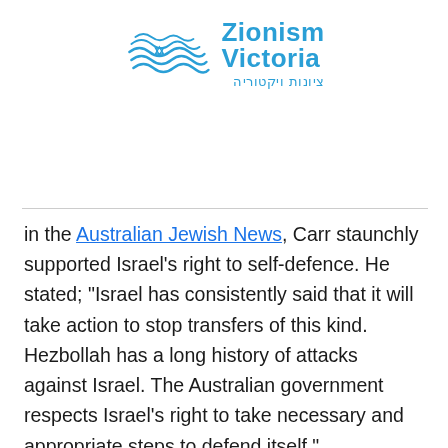[Figure (logo): Zionism Victoria logo with wave/star graphic and Hebrew text ציונות ויקטוריה]
in the Australian Jewish News, Carr staunchly supported Israel's right to self-defence. He stated; "Israel has consistently said that it will take action to stop transfers of this kind. Hezbollah has a long history of attacks against Israel. The Australian government respects Israel's right to take necessary and appropriate steps to defend itself."
But the obvious question to emerge is 'where does the US fit in'?
The Obama administration's response to the crisis